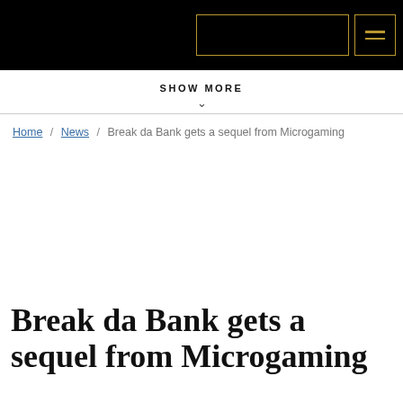[Navigation header with search box and menu icon]
SHOW MORE
Home / News / Break da Bank gets a sequel from Microgaming
[Figure (photo): Empty white image placeholder area]
Break da Bank gets a sequel from Microgaming